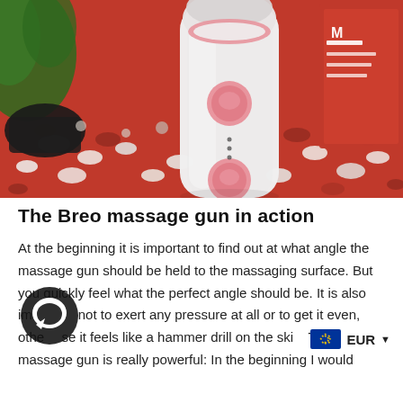[Figure (photo): A white Breo massage gun with pink buttons and round head attachment, photographed resting on red and white decorative stones/pebbles, with green plants visible in background on the left and a red product box partially visible on the right.]
The Breo massage gun in action
At the beginning it is important to find out at what angle the massage gun should be held to the massaging surface. But you quickly feel what the perfect angle should be. It is also important not to exert any pressure at all or to get it even, otherwise it feels like a hammer drill on the skin. The massage gun is really powerful: In the beginning I would